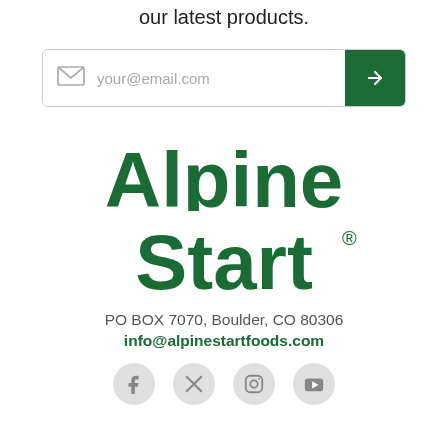our latest products.
[Figure (other): Email subscription input bar with envelope icon, placeholder text 'your@email.com', and a green submit arrow button]
[Figure (logo): Alpine Start logo in dark green bold text with mountain peak cutout in the 'A', with registered trademark symbol]
PO BOX 7070, Boulder, CO 80306
info@alpinestartfoods.com
[Figure (other): Social media icons: Facebook, Twitter/X, Instagram, YouTube — shown as gray circles with icons]